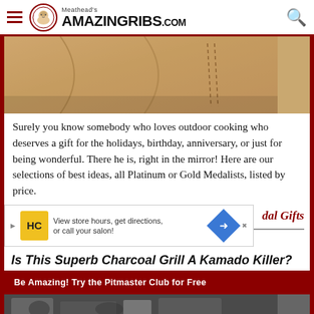Meathead's AmazingRibs.com
[Figure (photo): Close-up photo of tan/beige leather or fabric material, partially visible at the top of the content area]
Surely you know somebody who loves outdoor cooking who deserves a gift for the holidays, birthday, anniversary, or just for being wonderful. There he is, right in the mirror! Here are our selections of best ideas, all Platinum or Gold Medalists, listed by price.
[Figure (screenshot): Advertisement banner: HC salon logo in yellow box, text 'View store hours, get directions, or call your salon!', blue diamond navigation arrow. Partially overlapping text reading '...dal Gifts' in red italic.]
Is This Superb Charcoal Grill A Kamado Killer?
Be Amazing! Try the Pitmaster Club for Free
[Figure (photo): Bottom strip of a photo showing grill/BBQ equipment, partially visible]